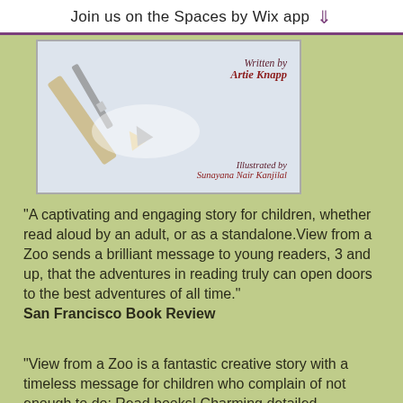Join us on the Spaces by Wix app
[Figure (photo): Book cover showing pencil/paintbrush sketch, with text 'Written by Artie Knapp' and 'Illustrated by Sunayana Nair Kanjilal' on a light blue background.]
"A captivating and engaging story for children, whether read aloud by an adult, or as a standalone.View from a Zoo sends a brilliant message to young readers, 3 and up, that the adventures in reading truly can open doors to the best adventures of all time." San Francisco Book Review
"View from a Zoo is a fantastic creative story with a timeless message for children who complain of not enough to do: Read books! Charming detailed illustrations show all the contrasting settings of city life indoors and out for Thea and her friends. View from a Zoo is highly recommended for children age 6 and up." Midwest Book Review